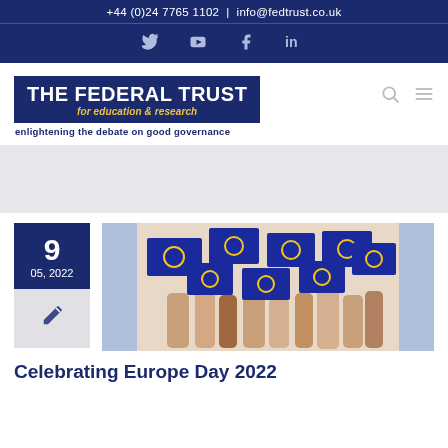+44 (0)24 7765 1102 | info@fedtrust.co.uk
[Figure (logo): Social media icons bar: Twitter, YouTube, Facebook, LinkedIn on dark blue background]
[Figure (logo): The Federal Trust for education & research logo with tagline: enlightening the debate on good governance]
[Figure (photo): Date block showing 9 / 05, 2022 and a pen icon beside a photo of hands holding EU flags]
Celebrating Europe Day 2022